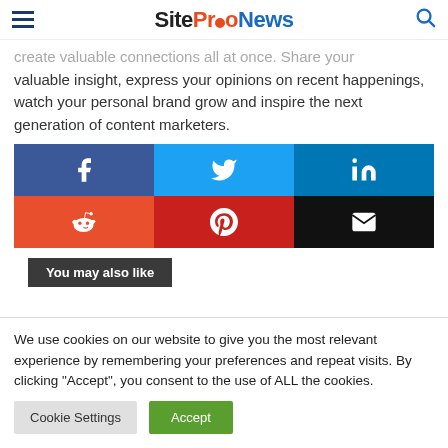SiteProNews
create valuable connections all at once. Share your valuable insight, express your opinions on recent happenings, watch your personal brand grow and inspire the next generation of content marketers.
[Figure (infographic): Social share buttons grid: Facebook (blue), Twitter (light blue), LinkedIn (dark blue), Reddit (orange-red), Pinterest (red), Email (black)]
You may also like
We use cookies on our website to give you the most relevant experience by remembering your preferences and repeat visits. By clicking “Accept”, you consent to the use of ALL the cookies.